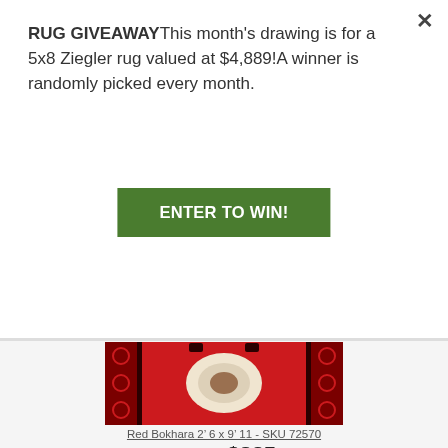RUG GIVEAWAYThis month's drawing is for a 5x8 Ziegler rug valued at $4,889!A winner is randomly picked every month.
[Figure (other): Green 'ENTER TO WIN!' button]
[Figure (photo): Red Bokhara rug with medallion pattern, partially visible top portion]
Red Bokhara 2' 6 x 9' 11 - SKU 72570
$3,625  $835
[Figure (photo): Red Bokhara rug with multiple oval medallions, partially visible bottom portion]